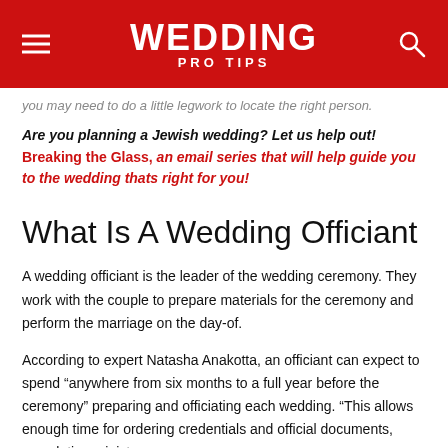WEDDING PRO TIPS
you may need to do a little legwork to locate the right person.
Are you planning a Jewish wedding? Let us help out! Breaking the Glass, an email series that will help guide you to the wedding thats right for you!
What Is A Wedding Officiant
A wedding officiant is the leader of the wedding ceremony. They work with the couple to prepare materials for the ceremony and perform the marriage on the day-of.
According to expert Natasha Anakotta, an officiant can expect to spend “anywhere from six months to a full year before the ceremony” preparing and officiating each wedding. “This allows enough time for ordering credentials and official documents, completing minister